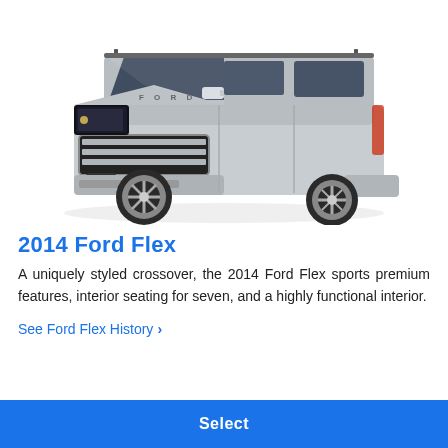[Figure (photo): Silver 2014 Ford Flex crossover SUV photographed from a front three-quarter angle against a white background, showing the distinctive flat-sided boxy design with chrome grille, rectangular headlights, roof rails, and large alloy wheels.]
2014 Ford Flex
A uniquely styled crossover, the 2014 Ford Flex sports premium features, interior seating for seven, and a highly functional interior.
See Ford Flex History  >
Select